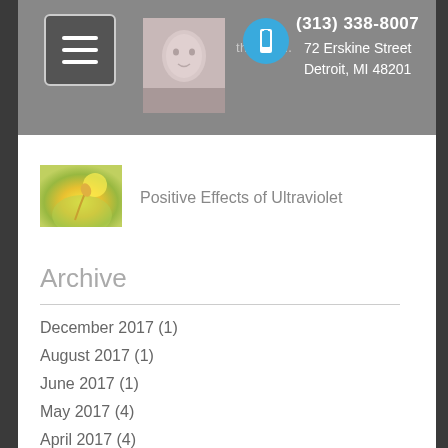(313) 338-8007 | 72 Erskine Street Detroit, MI 48201
[Figure (photo): Article thumbnail showing a hand holding a flower or similar object in sunshine, representing ultraviolet light effects]
Positive Effects of Ultraviolet
Archive
December 2017 (1)
August 2017 (1)
June 2017 (1)
May 2017 (4)
April 2017 (4)